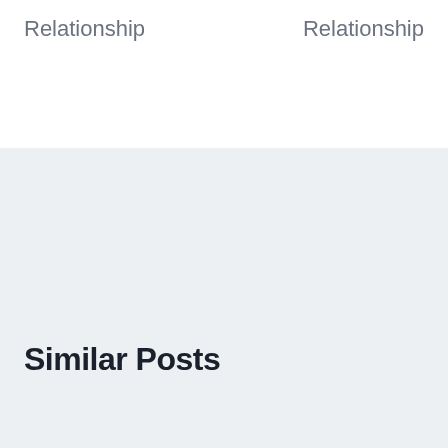Relationship
Relationship
Similar Posts